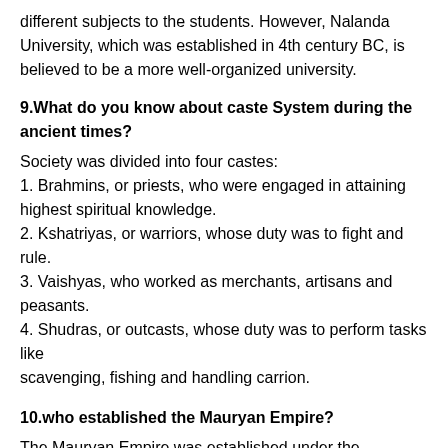different subjects to the students. However, Nalanda University, which was established in 4th century BC, is believed to be a more well-organized university.
9.What do you know about caste System during the ancient times?
Society was divided into four castes:
1. Brahmins, or priests, who were engaged in attaining highest spiritual knowledge.
2. Kshatriyas, or warriors, whose duty was to fight and rule.
3. Vaishyas, who worked as merchants, artisans and peasants.
4. Shudras, or outcasts, whose duty was to perform tasks like scavenging, fishing and handling carrion.
10.who established the Mauryan Empire?
The Mauryan Empire was established under the leadership of Mauryan...